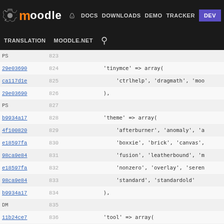Moodle navigation bar: home, DOCS, DOWNLOADS, DEMO, TRACKER, DEV | TRANSLATION, MOODLE.NET, search
[Figure (screenshot): Moodle developer site navigation bar with logo, nav links (DOCS, DOWNLOADS, DEMO, TRACKER, DEV highlighted in purple), and secondary links (TRANSLATION, MOODLE.NET, search icon)]
Code viewer showing PHP array definitions for Moodle plugins: tinymce, theme (afterburner, anomaly, boxxie, brick, canvas, fusion, leatherbound, nonzero, overlay, standard, standardold), tool (assignmentupgrade, behat, dbtransfer, generator, langimport, multilangupgrade, qeupgradehelper, replace, unittest, uploaduser), webservice (amf, rest, soap, xmlrpc), workshopallocation (manual, random, schedule). Line numbers 823-849 with git commit hashes.